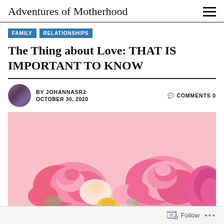Adventures of Motherhood
FAMILY
RELATIONSHIPS
The Thing about Love: THAT IS IMPORTANT TO KNOW
BY JOHANNASR2  OCTOBER 30, 2020  COMMENTS 0
[Figure (photo): Pink roses and peonies arranged on a light pink background, viewed from above, cropped at the bottom of the frame.]